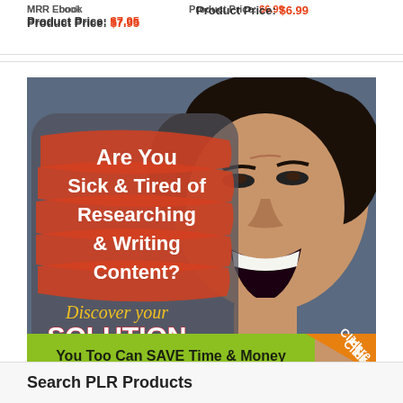MRR Ebook
Product Price: $7.95
Product Price: $6.99
[Figure (illustration): Promotional banner ad showing a woman screaming with text: 'Are You Sick & Tired of Researching & Writing Content? Discover your SOLUTION. You Too Can SAVE Time & Money. Click Here.']
Search PLR Products